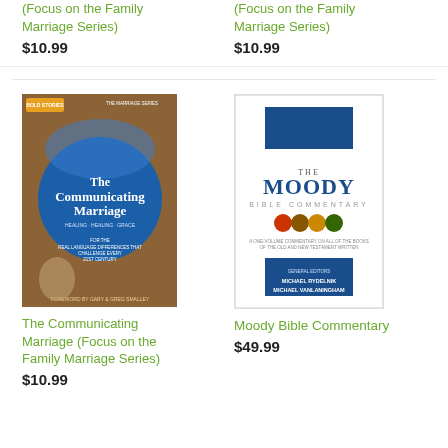The Actualizing Marriage (Focus on the Family Marriage Series)
$10.99
The Covenant Marriage (Focus on the Family Marriage Series)
$10.99
[Figure (photo): Book cover of The Communicating Marriage, Focus on the Family Marriage Series, foreword by Gary & Greg Smalley. Dark blue/brown cover with a large blue circle.]
The Communicating Marriage (Focus on the Family Marriage Series)
$10.99
[Figure (photo): Book cover of Moody Bible Commentary. White cover with blue rectangles and colored circular icons.]
Moody Bible Commentary
$49.99